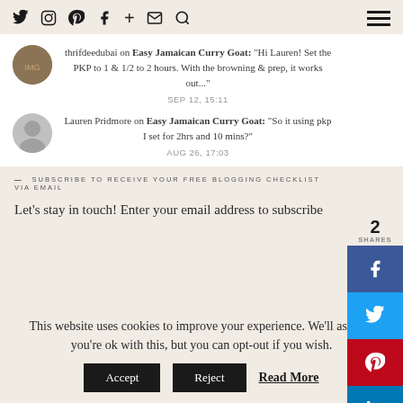Navigation bar with social icons: Twitter, Instagram, Pinterest, Facebook, Plus, Email, Search, Hamburger menu
thrifdeedubai on Easy Jamaican Curry Goat: "Hi Lauren! Set the PKP to 1 & 1/2 to 2 hours. With the browning & prep, it works out..."
SEP 12, 15:11
Lauren Pridmore on Easy Jamaican Curry Goat: "So it using pkp I set for 2hrs and 10 mins?"
AUG 26, 17:03
2 SHARES
— SUBSCRIBE TO RECEIVE YOUR FREE BLOGGING CHECKLIST VIA EMAIL
Let's stay in touch! Enter your email address to subscribe
This website uses cookies to improve your experience. We'll assume you're ok with this, but you can opt-out if you wish.
Accept  Reject  Read More